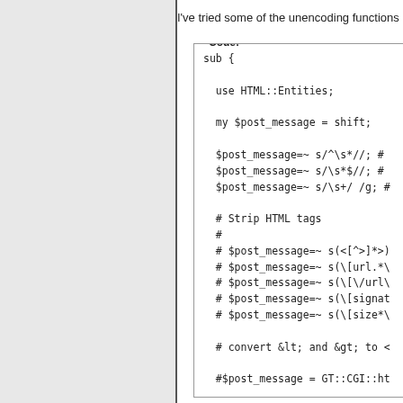I've tried some of the unencoding functions
[Figure (screenshot): Code block showing a Perl subroutine with HTML::Entities, regex whitespace trimming, commented-out HTML tag stripping lines, and a comment about converting &lt; and &gt;]